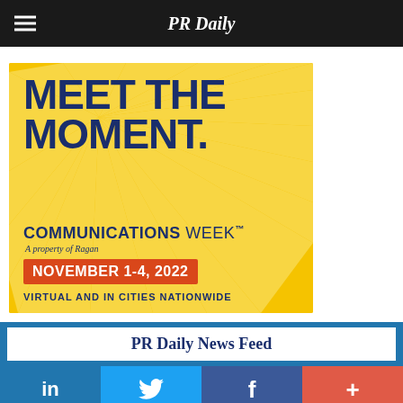PR Daily
[Figure (illustration): Communications Week advertisement banner on yellow background with sunburst rays. Text reads: MEET THE MOMENT. COMMUNICATIONS WEEK™ A property of Ragan. NOVEMBER 1-4, 2022. VIRTUAL AND IN CITIES NATIONWIDE.]
PR Daily News Feed
in  Twitter bird  f  +